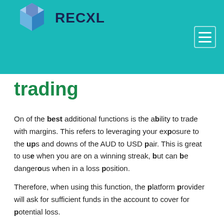RECXL
trading
On of the best additional functions is the ability to trade with margins. This refers to leveraging your exposure to the ups and downs of the AUD to USD pair. This is great to use when you are on a winning streak, but can be dangerous when in a loss position.
Therefore, when using this function, the platform provider will ask for sufficient funds in the account to cover for potential loss.